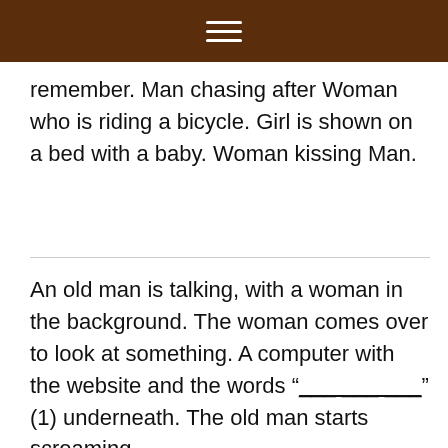≡
remember. Man chasing after Woman who is riding a bicycle. Girl is shown on a bed with a baby. Woman kissing Man.
An old man is talking, with a woman in the background. The woman comes over to look at something. A computer with the website and the words "___ ___ ___" (1) underneath. The old man starts screaming.